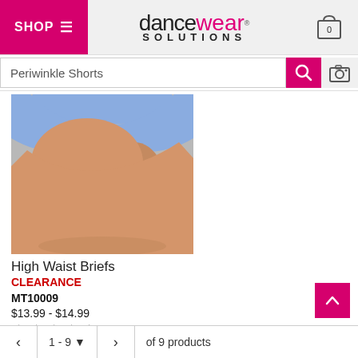SHOP ☰ | dancewear SOLUTIONS | cart 0
Periwinkle Shorts [search bar]
[Figure (photo): Close-up photo of person wearing periwinkle/blue high waist briefs, showing hips and thighs against a gray background]
High Waist Briefs
CLEARANCE
MT10009
$13.99 - $14.99
★★★★½ (4.5 stars)
Color swatches: dark purple, brown, light blue, pink, tan
< | 1 - 9 ▼ | > | of 9 products